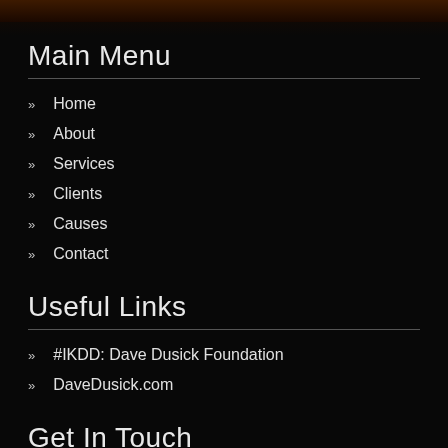Main Menu
Home
About
Services
Clients
Causes
Contact
Useful Links
#IKDD: Dave Dusick Foundation
DaveDusick.com
Get In Touch